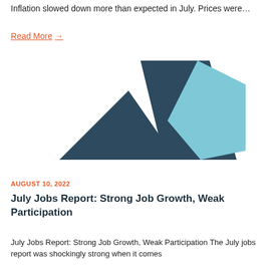Inflation slowed down more than expected in July. Prices were…
Read More →
[Figure (logo): Abstract geometric logo made of three overlapping diamond/triangle shapes in dark teal and light blue colors arranged in a row]
AUGUST 10, 2022
July Jobs Report: Strong Job Growth, Weak Participation
July Jobs Report: Strong Job Growth, Weak Participation The July jobs report was shockingly strong when it comes